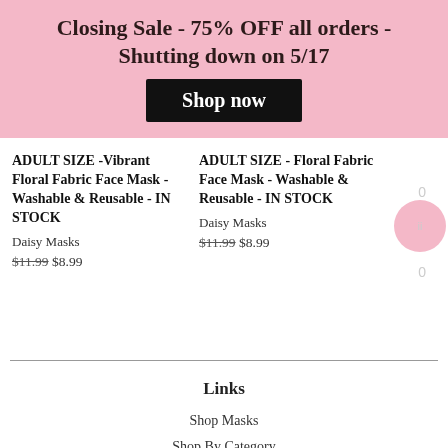Closing Sale - 75% OFF all orders - Shutting down on 5/17
Shop now
ADULT SIZE -Vibrant Floral Fabric Face Mask - Washable & Reusable - IN STOCK
Daisy Masks
$11.99 $8.99
ADULT SIZE - Floral Fabric Face Mask - Washable & Reusable - IN STOCK
Daisy Masks
$11.99 $8.99
Links
Shop Masks
Shop By Category